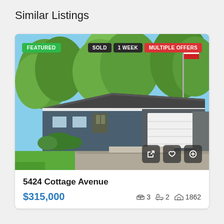Similar Listings
[Figure (photo): Exterior photo of a single-story ranch-style house with blue/grey siding, white garage door, large driveway, trees in background. Badges: FEATURED (green), SOLD (dark), 1 WEEK (dark), MULTIPLE OFFERS (red). Action buttons (expand, heart, plus) at bottom right.]
5424 Cottage Avenue
$315,000   🛏 3   🏠 2   📐 1862